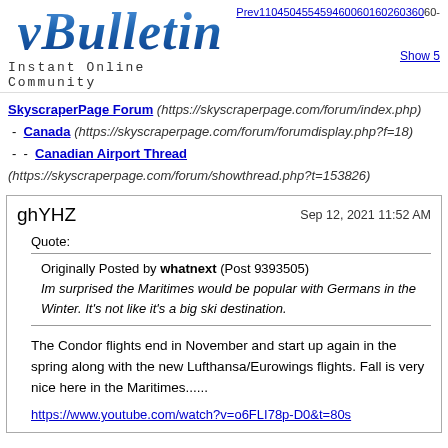[Figure (logo): vBulletin logo with 'Instant Online Community' tagline]
Prev110450455459460060160260360- Show 5
SkyscraperPage Forum (https://skyscraperpage.com/forum/index.php)
- Canada (https://skyscraperpage.com/forum/forumdisplay.php?f=18)
-  -  Canadian Airport Thread (https://skyscraperpage.com/forum/showthread.php?t=153826)
ghYHZ
Sep 12, 2021 11:52 AM
Quote:
Originally Posted by whatnext (Post 9393505)
Im surprised the Maritimes would be popular with Germans in the Winter. It's not like it's a big ski destination.
The Condor flights end in November and start up again in the spring along with the new Lufthansa/Eurowings flights. Fall is very nice here in the Maritimes......
https://www.youtube.com/watch?v=o6FLI78p-D0&t=80s